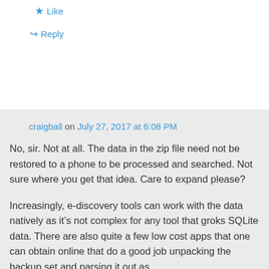★ Like
↪ Reply
craigball on July 27, 2017 at 6:08 PM
No, sir. Not at all. The data in the zip file need not be restored to a phone to be processed and searched. Not sure where you get that idea. Care to expand please?
Increasingly, e-discovery tools can work with the data natively as it's not complex for any tool that groks SQLite data. There are also quite a few low cost apps that one can obtain online that do a good job unpacking the backup set and parsing it out as